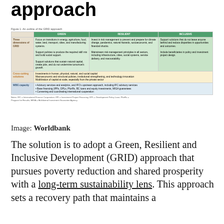approach
Figure 1. An outline of the GRID approach
[Figure (table-as-image): A table showing three dimensions of the GRID (Green, Resilient, Inclusive Development) approach, with rows for Three dimensions of GRID, Cross-cutting solutions, and WBG capacity.]
Notes: IFC = International Finance Corporation; IPF = Investment Project Financing; DPL = Development Policy Loan; PforRs = Program for Results; MIGA = Multilateral Investment Guarantee Agency.
Image: Worldbank
The solution is to adopt a Green, Resilient and Inclusive Development (GRID) approach that pursues poverty reduction and shared prosperity with a long-term sustainability lens. This approach sets a recovery path that maintains a